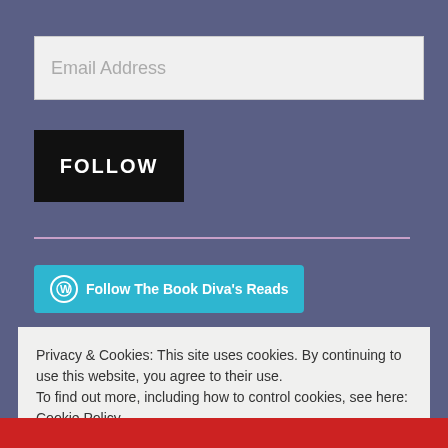Email Address
FOLLOW
Follow The Book Diva's Reads
Privacy & Cookies: This site uses cookies. By continuing to use this website, you agree to their use.
To find out more, including how to control cookies, see here: Cookie Policy
Close and accept